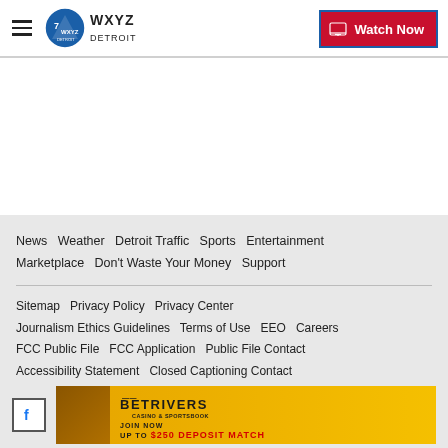WXYZ Detroit — Watch Now
News   Weather   Detroit Traffic   Sports   Entertainment   Marketplace   Don't Waste Your Money   Support
Sitemap   Privacy Policy   Privacy Center   Journalism Ethics Guidelines   Terms of Use   EEO   Careers   FCC Public File   FCC Application   Public File Contact   Accessibility Statement   Closed Captioning Contact
[Figure (logo): BetRivers Casino & Sportsbook advertisement: JOIN NOW UP TO $250 DEPOSIT MATCH ON 1ST DEPOSIT]